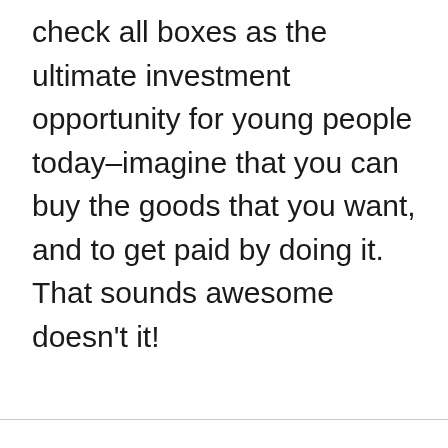check all boxes as the ultimate investment opportunity for young people today–imagine that you can buy the goods that you want, and to get paid by doing it. That sounds awesome doesn't it!